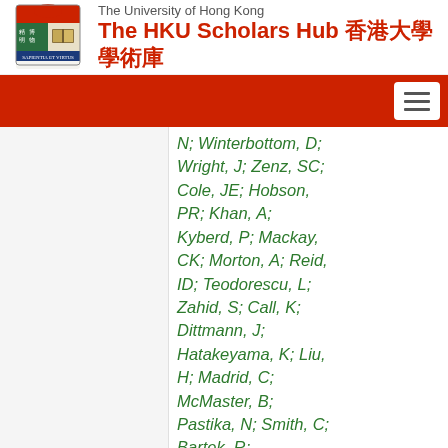The University of Hong Kong — The HKU Scholars Hub 香港大學學術庫
N; Winterbottom, D; Wright, J; Zenz, SC; Cole, JE; Hobson, PR; Khan, A; Kyberd, P; Mackay, CK; Morton, A; Reid, ID; Teodorescu, L; Zahid, S; Call, K; Dittmann, J; Hatakeyama, K; Liu, H; Madrid, C; McMaster, B; Pastika, N; Smith, C; Bartek, R; Dominguez, A; Buccilli, A; Charaf, O; Cooper, SI; Henderson, C;